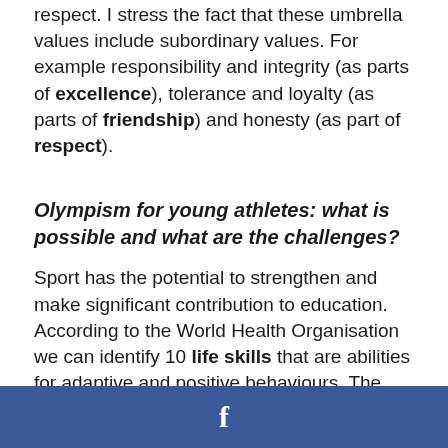respect. I stress the fact that these umbrella values include subordinary values. For example responsibility and integrity (as parts of excellence), tolerance and loyalty (as parts of friendship) and honesty (as part of respect).
Olympism for young athletes: what is possible and what are the challenges?
Sport has the potential to strengthen and make significant contribution to education. According to the World Health Organisation we can identify 10 life skills that are abilities for adaptive and positive behaviours. The...
f